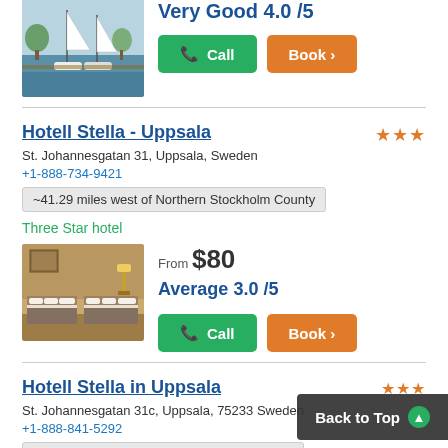[Figure (photo): Marina with sailboats and water]
Very Good 4.0 /5
Call
Book
Hotell Stella - Uppsala
St. Johannesgatan 31, Uppsala, Sweden
+1-888-734-9421
~41.29 miles west of Northern Stockholm County
Three Star hotel
[Figure (photo): Hotel room with two beds and warm lighting]
From $80
Average 3.0 /5
Call
Book
Hotell Stella in Uppsala
St. Johannesgatan 31c, Uppsala, 75233 Sweden
+1-888-841-5292
~41.30 miles west of Northern Stockholm County
Back to Top